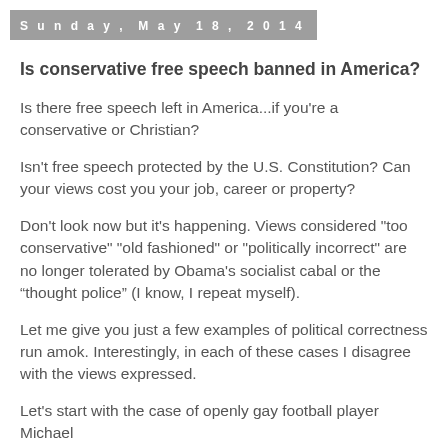Sunday, May 18, 2014
Is conservative free speech banned in America?
Is there free speech left in America...if you're a conservative or Christian?
Isn't free speech protected by the U.S. Constitution? Can your views cost you your job, career or property?
Don't look now but it's happening. Views considered "too conservative" "old fashioned" or "politically incorrect" are no longer tolerated by Obama's socialist cabal or the “thought police” (I know, I repeat myself).
Let me give you just a few examples of political correctness run amok. Interestingly, in each of these cases I disagree with the views expressed.
Let's start with the case of openly gay football player Michael Sam. Sam has been loudly cheered and...